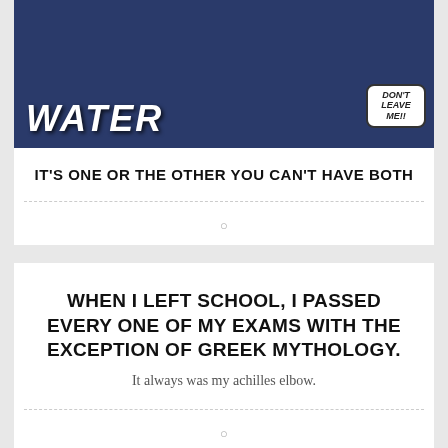[Figure (illustration): Comic/meme image with dark blue background showing text WATER on left and a comic character with speech bubble saying DON'T LEAVE ME!! on right]
IT'S ONE OR THE OTHER YOU CAN'T HAVE BOTH
WHEN I LEFT SCHOOL, I PASSED EVERY ONE OF MY EXAMS WITH THE EXCEPTION OF GREEK MYTHOLOGY.
It always was my achilles elbow.